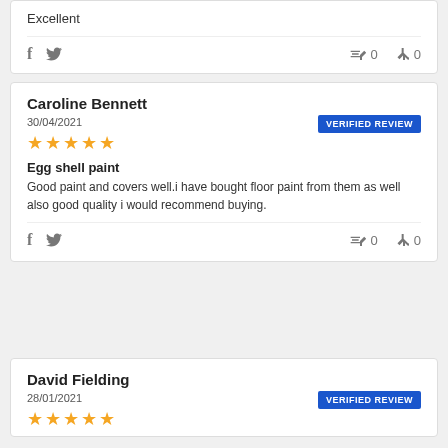Excellent
f  [twitter]  👍 0  👎 0
Caroline Bennett
VERIFIED REVIEW
30/04/2021
★★★★★
Egg shell paint
Good paint and covers well.i have bought floor paint from them as well also good quality i would recommend buying.
f  [twitter]  👍 0  👎 0
David Fielding
VERIFIED REVIEW
28/01/2021
★★★★★